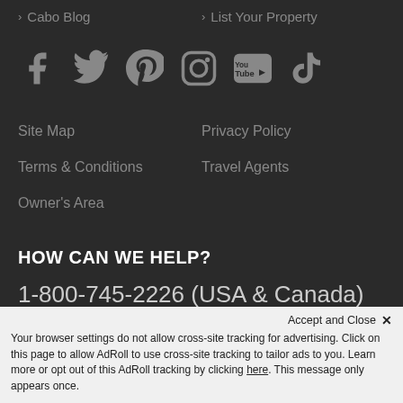> Cabo Blog
> List Your Property
[Figure (illustration): Social media icons row: Facebook, Twitter, Pinterest, Instagram, YouTube, TikTok]
Site Map
Privacy Policy
Terms & Conditions
Travel Agents
Owner's Area
HOW CAN WE HELP?
1-800-745-2226 (USA & Canada)
01-801-784-5890 (International)
Accept and Close ✕
Your browser settings do not allow cross-site tracking for advertising. Click on this page to allow AdRoll to use cross-site tracking to tailor ads to you. Learn more or opt out of this AdRoll tracking by clicking here. This message only appears once.